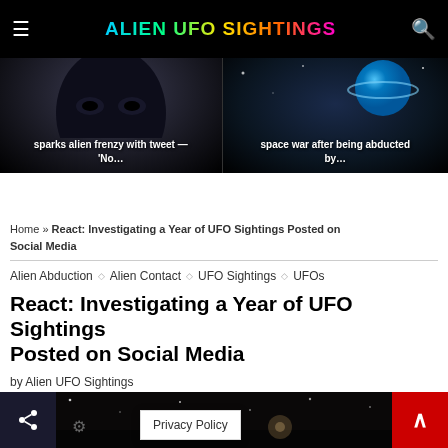ALIEN UFO SIGHTINGS
[Figure (screenshot): Two preview images: left shows alien silhouette with text 'sparks alien frenzy with tweet — No...', right shows space scene with text 'space war after being abducted by...']
Home » React: Investigating a Year of UFO Sightings Posted on Social Media
Alien Abduction ◇ Alien Contact ◇ UFO Sightings ◇ UFOs
React: Investigating a Year of UFO Sightings Posted on Social Media
by Alien UFO Sightings
0 comment
[Figure (photo): Bottom partial image showing night sky/space scene with stars and a dark horizon]